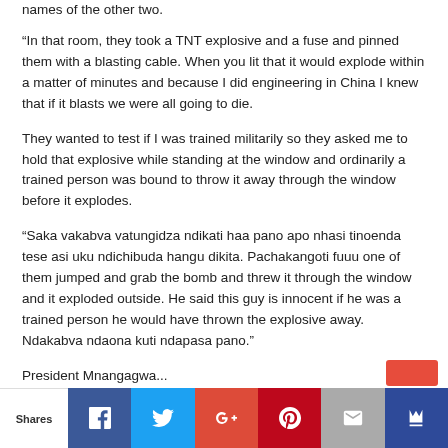names of the other two.
“In that room, they took a TNT explosive and a fuse and pinned them with a blasting cable. When you lit that it would explode within a matter of minutes and because I did engineering in China I knew that if it blasts we were all going to die.
They wanted to test if I was trained militarily so they asked me to hold that explosive while standing at the window and ordinarily a trained person was bound to throw it away through the window before it explodes.
“Saka vakabva vatungidza ndikati haa pano apo nhasi tinoenda tese asi uku ndichibuda hangu dikita. Pachakangoti fuuu one of them jumped and grab the bomb and threw it through the window and it exploded outside. He said this guy is innocent if he was a trained person he would have thrown the explosive away. Ndakabva ndaona kuti ndapasa pano.”
President Mnangagwa...
Shares